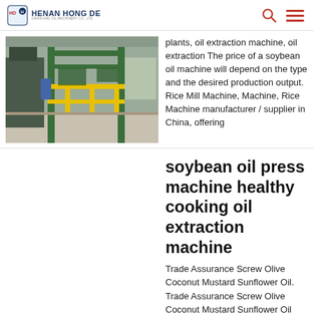HENAN HONG DE GRAIN AND OIL MACHINERY CO., LTD
[Figure (photo): Industrial factory interior with green metal framing structures and yellow safety railings, machinery area]
plants, oil extraction machine, oil extraction The price of a soybean oil machine will depend on the type and the desired production output. Rice Mill Machine, Machine, Rice Machine manufacturer / supplier in China, offering
soybean oil press machine healthy cooking oil extraction machine
Trade Assurance Screw Olive Coconut Mustard Sunflower Oil. Trade Assurance Screw Olive Coconut Mustard Sunflower Oil Press Machinery Soybean Palm Kernel Sunflower Oil Refining Machine , Find Complete Details about Trade Assurance Screw Olive Coconut Mustard Sunflower Oil Press Machinery Soybean Palm Kernel Sunflower Oil